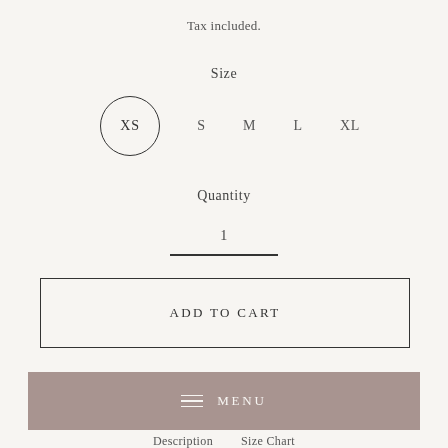Tax included.
Size
XS  S  M  L  XL
Quantity
1
ADD TO CART
MENU
Description  Size Chart